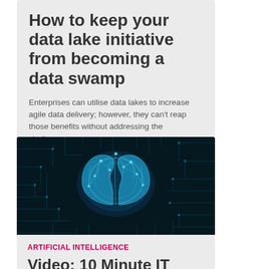How to keep your data lake initiative from becoming a data swamp
Enterprises can utilise data lakes to increase agile data delivery; however, they can't reap those benefits without addressing the challenges.
[Figure (photo): A glowing blue digital brain on a circuit board background, representing artificial intelligence.]
ARTIFICIAL INTELLIGENCE
Video: 10 Minute IT